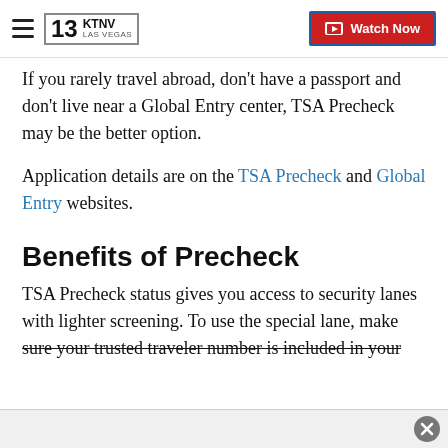KTNV LAS VEGAS — Watch Now
If you rarely travel abroad, don't have a passport and don't live near a Global Entry center, TSA Precheck may be the better option.
Application details are on the TSA Precheck and Global Entry websites.
Benefits of Precheck
TSA Precheck status gives you access to security lanes with lighter screening. To use the special lane, make sure your trusted traveler number is included in your